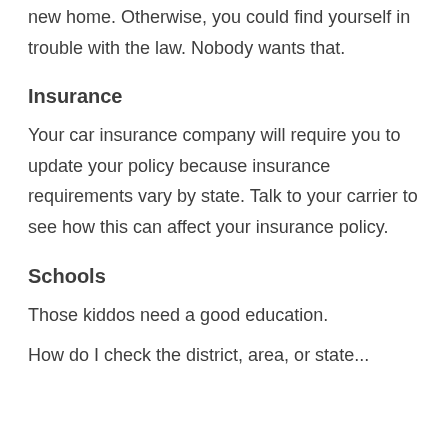new home. Otherwise, you could find yourself in trouble with the law. Nobody wants that.
Insurance
Your car insurance company will require you to update your policy because insurance requirements vary by state. Talk to your carrier to see how this can affect your insurance policy.
Schools
Those kiddos need a good education.
How do I check the district, area, or state...